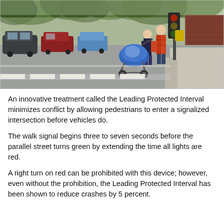[Figure (photo): Street intersection scene showing pedestrians with a child stroller/carrier at a curb cut. Vehicles visible in background on a tree-lined street. Crosswalk markings visible on road.]
An innovative treatment called the Leading Protected Interval minimizes conflict by allowing pedestrians to enter a signalized intersection before vehicles do.
The walk signal begins three to seven seconds before the parallel street turns green by extending the time all lights are red.
A right turn on red can be prohibited with this device; however, even without the prohibition, the Leading Protected Interval has been shown to reduce crashes by 5 percent.